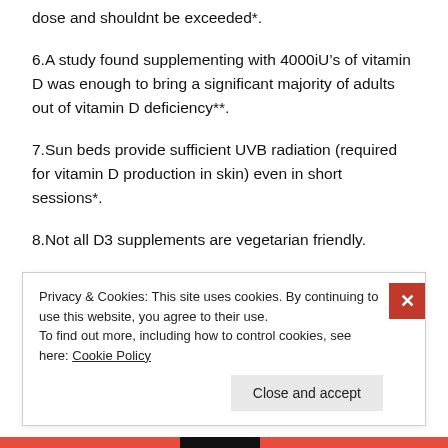dose and shouldnt be exceeded*.
6.A study found supplementing with 4000iU’s of vitamin D was enough to bring a significant majority of adults out of vitamin D deficiency**.
7.Sun beds provide sufficient UVB radiation (required for vitamin D production in skin) even in short sessions*.
8.Not all D3 supplements are vegetarian friendly.
Privacy & Cookies: This site uses cookies. By continuing to use this website, you agree to their use.
To find out more, including how to control cookies, see here: Cookie Policy